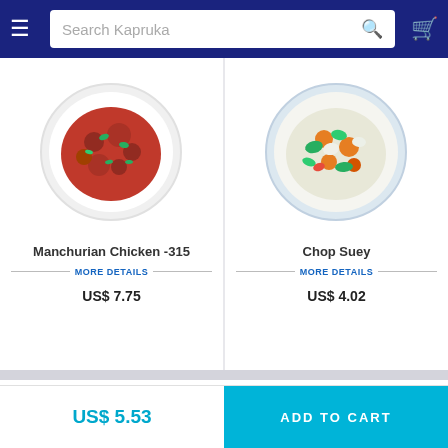Search Kapruka
[Figure (photo): Manchurian Chicken dish on a white plate with red sauce and green garnish]
Manchurian Chicken -315
MORE DETAILS
US$ 7.75
[Figure (photo): Chop Suey dish on a white plate with carrots, broccoli and mixed vegetables]
Chop Suey
MORE DETAILS
US$ 4.02
Customer ratings for Fried Noodles with Vegetable and Egg By Chinese Dragon Cafe
US$ 5.53
ADD TO CART